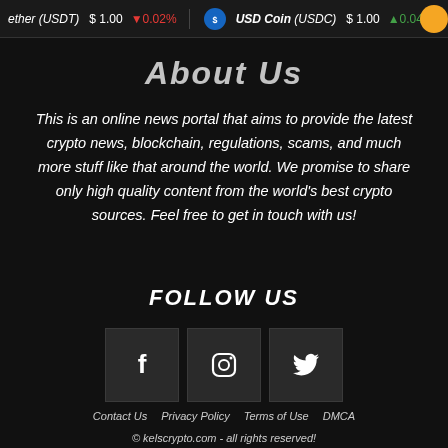Tether (USDT) $1.00 ↓0.02%   USD Coin (USDC) $1.00 ↑0.04%
About Us
This is an online news portal that aims to provide the latest crypto news, blockchain, regulations, scams, and much more stuff like that around the world. We promise to share only high quality content from the world's best crypto sources. Feel free to get in touch with us!
FOLLOW US
[Figure (infographic): Three social media icon buttons: Facebook (f), Instagram (camera), Twitter (bird)]
Contact Us   Privacy Policy   Terms of Use   DMCA
© kelscrypto.com - all rights reserved!